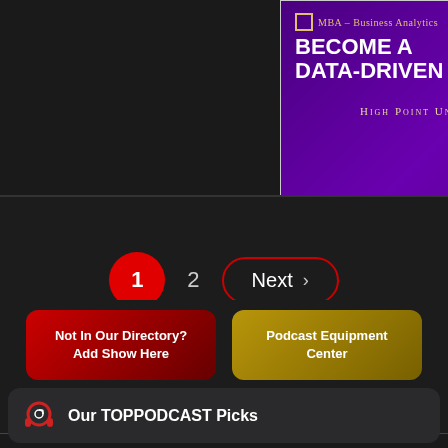[Figure (screenshot): Advertisement banner for High Point University MBA Business Analytics program with purple background, 'BECOME A DATA-DRIVEN LEADER' headline, orange Learn More button]
[Figure (screenshot): Pagination controls showing page 1 (red circle), page 2, and Next button with red border on dark background]
[Figure (screenshot): Two call-to-action buttons: 'Not In Our Directory? Add Show Here' (red gradient) and 'Podcast Equipment Center' (gold/yellow gradient)]
[Figure (screenshot): Dark card with headphone/at-symbol icon and text 'Our TOPPODCAST Picks']